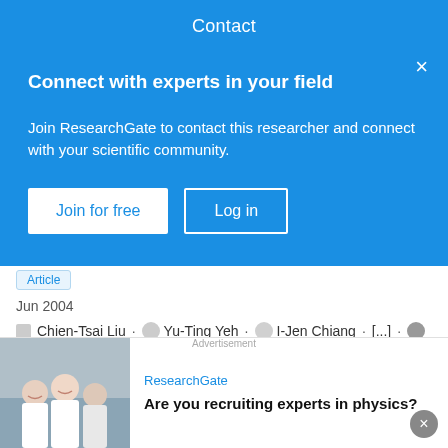Contact
Connect with experts in your field
Join ResearchGate to contact this researcher and connect with your scientific community.
Join for free   Log in
Article
Jun 2004
Chien-Tsai Liu · Yu-Ting Yeh · I-Jen Chiang · [...] · Wen-Ta Chiu
There is increasing evidence that patient safety can be improved by the introduction of an integrated computer-based medical care system in hospital settings. In this paper, we describe an integrated pharmaceutical information system (IPIS) in which…
[Figure (photo): Photo of researchers/scientists in lab coats smiling]
Advertisement
ResearchGate
Are you recruiting experts in physics?